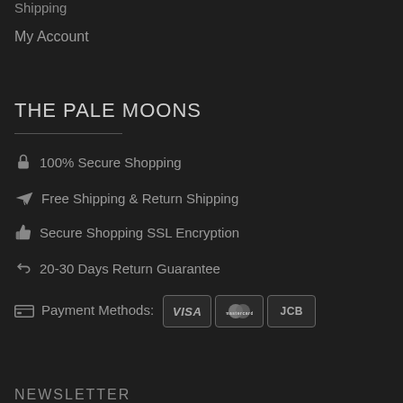Shipping
My Account
THE PALE MOONS
100% Secure Shopping
Free Shipping & Return Shipping
Secure Shopping SSL Encryption
20-30 Days Return Guarantee
Payment Methods: VISA | Mastercard | JCB
NEWSLETTER